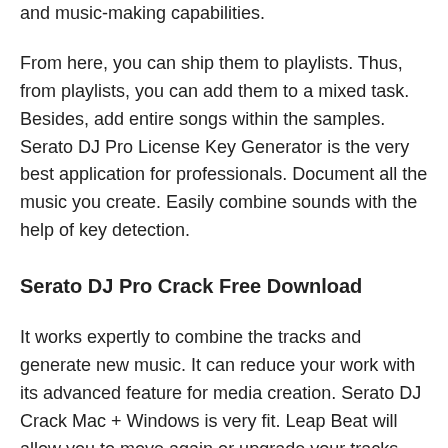and music-making capabilities.
From here, you can ship them to playlists. Thus, from playlists, you can add them to a mixed task. Besides, add entire songs within the samples. Serato DJ Pro License Key Generator is the very best application for professionals. Document all the music you create. Easily combine sounds with the help of key detection.
Serato DJ Pro Crack Free Download
It works expertly to combine the tracks and generate new music. It can reduce your work with its advanced feature for media creation. Serato DJ Crack Mac + Windows is very fit. Leap Beat will allow you to move again or upgrade your tracks. You will be able to offer your work in high-quality decoders.
Serato DJ For Mac Crack is very fit for your system. Now,